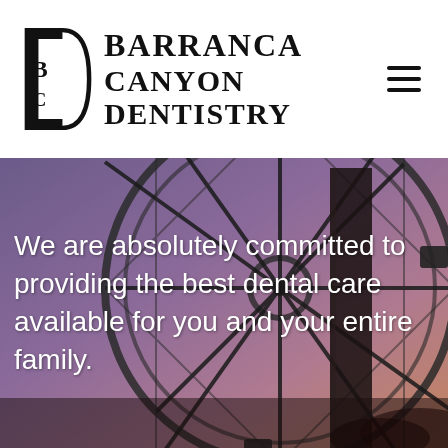[Figure (logo): Barranca Canyon Dentistry logo with stylized BC letters inside a D shape, and the text BARRANCA CANYON DENTISTRY]
[Figure (photo): Background photo of a ferris wheel against a purple/pink dusk sky, with a dark monolith structure visible. White overlay text reads: We are absolutely committed to providing the best dental care available for you and your entire family.]
We are absolutely committed to providing the best dental care available for you and your entire family.